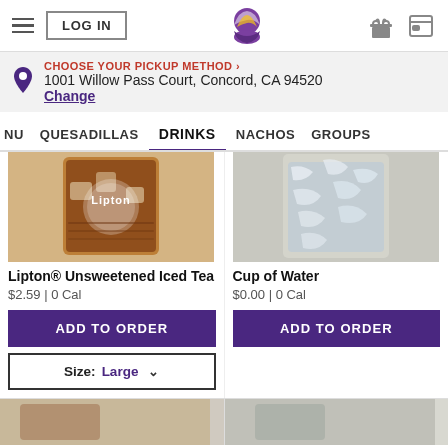LOG IN | Taco Bell | Gift | Card
CHOOSE YOUR PICKUP METHOD › 1001 Willow Pass Court, Concord, CA 94520 Change
NU  QUESADILLAS  DRINKS  NACHOS  GROUPS
[Figure (photo): Lipton Unsweetened Iced Tea in a cup with ice]
Lipton® Unsweetened Iced Tea
$2.59 | 0 Cal
ADD TO ORDER
Size: Large
[Figure (photo): Cup of water with ice]
Cup of Water
$0.00 | 0 Cal
ADD TO ORDER